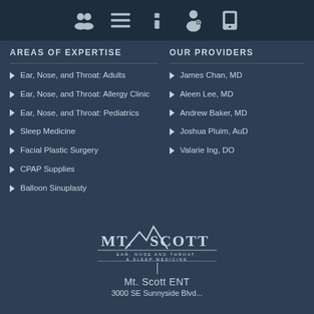Navigation icons bar (groups, list, info, doctor, phone)
AREAS OF EXPERTISE
Ear, Nose, and Throat: Adults
Ear, Nose, and Throat: Allergy Clinic
Ear, Nose, and Throat: Pediatrics
Sleep Medicine
Facial Plastic Surgery
CPAP Supplies
Balloon Sinuplasty
OUR PROVIDERS
James Chan, MD
Aleen Lee, MD
Andrew Baker, MD
Joshua Pluim, AuD
Valarie Ing, DO
[Figure (logo): Mt. Scott Ear, Nose and Throat & Sleep Medicine logo with mountain silhouette]
Mt. Scott ENT
3000 SE Sunnyside Blvd...